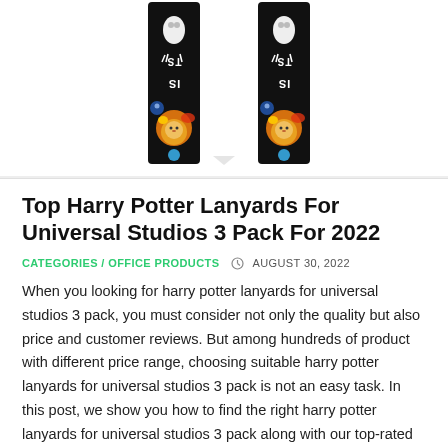[Figure (photo): Two colorful Harry Potter themed lanyards with black background featuring cartoon animals including a lion, displayed side by side on a white background]
Top Harry Potter Lanyards For Universal Studios 3 Pack For 2022
CATEGORIES / OFFICE PRODUCTS   AUGUST 30, 2022
When you looking for harry potter lanyards for universal studios 3 pack, you must consider not only the quality but also price and customer reviews. But among hundreds of product with different price range, choosing suitable harry potter lanyards for universal studios 3 pack is not an easy task. In this post, we show you how to find the right harry potter lanyards for universal studios 3 pack along with our top-rated reviews. Please check out our suggestions to find the best harry potter lanyards for universal